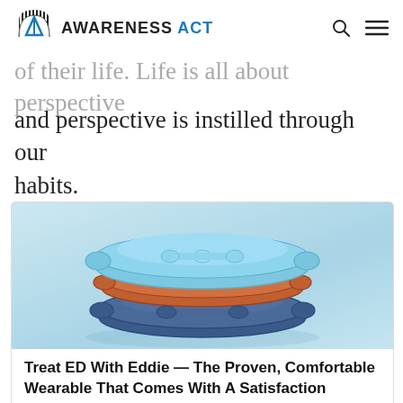AWARENESS ACT
of their life. Life is all about perspective and perspective is instilled through our habits.
[Figure (photo): Stack of light blue wearable ring-like ED devices (Eddie), with orange and dark blue accent rings, displayed on a light background.]
Treat ED With Eddie — The Proven, Comfortable Wearable That Comes With A Satisfaction Guarantee
Giddy's ED device doesn't require an Rx or a